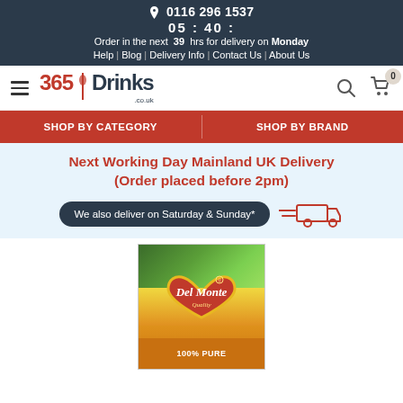0116 296 1537 | 05 : 40 : | Order in the next 39 hrs for delivery on Monday | Help | Blog | Delivery Info | Contact Us | About Us
[Figure (logo): 365 Drinks .co.uk logo with bottle icon, hamburger menu left, search and cart icons right]
SHOP BY CATEGORY | SHOP BY BRAND
Next Working Day Mainland UK Delivery (Order placed before 2pm)
We also deliver on Saturday & Sunday*
[Figure (photo): Del Monte Quality juice carton product image, partially cropped, showing 100% PURE text at bottom]